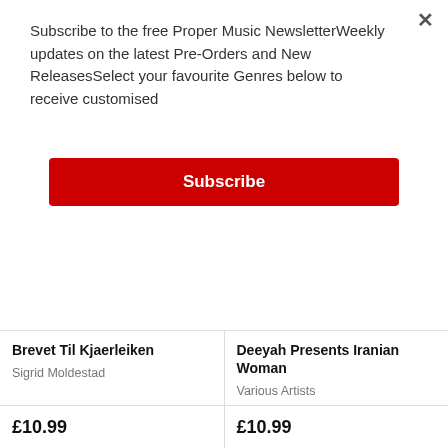Subscribe to the free Proper Music NewsletterWeekly updates on the latest Pre-Orders and New ReleasesSelect your favourite Genres below to receive customised
Subscribe
[Figure (photo): Album cover for Brevet Til Kjaerleiken showing a woman's face with decorative floral patterns and album title text in stone-like lettering]
[Figure (photo): Album cover for Deeyah Presents Iranian Woman showing a black and white abstract bird or figure shape]
Brevet Til Kjaerleiken
Sigrid Moldestad
Deeyah Presents Iranian Woman
Various Artists
£10.99
£10.99